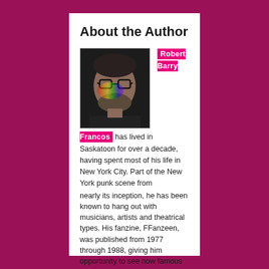About the Author
[Figure (photo): Headshot photo of Robert Barry Francos, a man with glasses and a beard with rainbow light reflecting off his face]
Robert Barry Francos has lived in Saskatoon for over a decade, having spent most of his life in New York City. Part of the New York punk scene from nearly its inception, he has been known to hang out with musicians, artists and theatrical types. His fanzine, FFanzeen, was published from 1977 through 1988, giving him opportunity to see now famous bands in their early stages. Media, writing and photography have been a core interest for most of his life, leading to a Masters in Media Ecology from New York University. This has led to travel to Mexico, England, the Netherlands, Germany, Poland, Israel and Egypt, and recently he taught a university class in media theory in China.